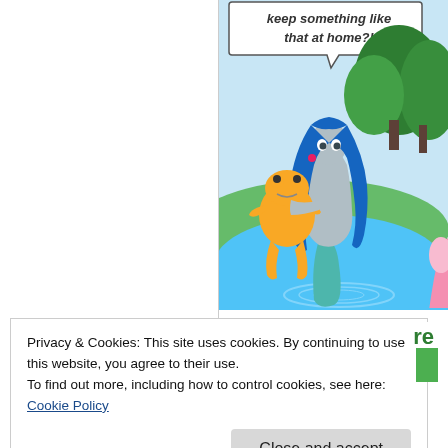[Figure (illustration): Comic panel showing a mermaid-like woman with long blue hair standing in a pond/lake, holding up a large frog. Trees and green hills in the background. A speech bubble at the top reads 'keep something like that at home?!' A pink figure is partially visible at the right edge.]
Privacy & Cookies: This site uses cookies. By continuing to use this website, you agree to their use.
To find out more, including how to control cookies, see here: Cookie Policy
Close and accept